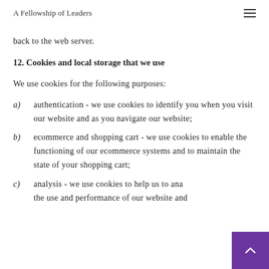A Fellowship of Leaders
back to the web server.
12. Cookies and local storage that we use
We use cookies for the following purposes:
a)  authentication - we use cookies to identify you when you visit our website and as you navigate our website;
b)  ecommerce and shopping cart - we use cookies to enable the functioning of our ecommerce systems and to maintain the state of your shopping cart;
c)  analysis - we use cookies to help us to analyse the use and performance of our website and